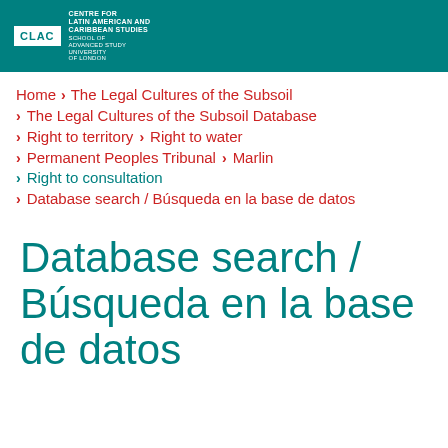[Figure (logo): CLAC logo with Centre for Latin American and Caribbean Studies, School of Advanced Study, University of London text on teal header bar]
Home > The Legal Cultures of the Subsoil
> The Legal Cultures of the Subsoil Database
> Right to territory > Right to water
> Permanent Peoples Tribunal > Marlin
> Right to consultation
> Database search / Búsqueda en la base de datos
Database search / Búsqueda en la base de datos